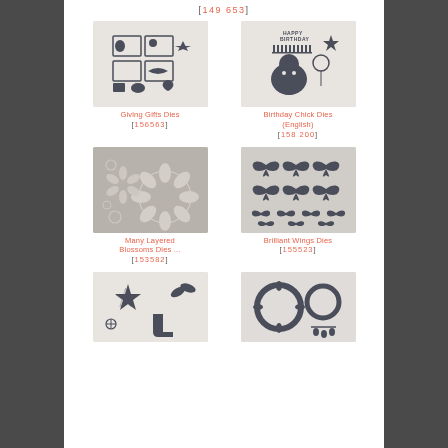[149 653]
[Figure (photo): Giving Gifts Dies product image showing various holiday die cut shapes on light background]
Giving Gifts Dies [156563]
[Figure (photo): Birthday Chick Dies (English) product image showing birthday themed die cuts including chick figure, balloon, and happy birthday text on light background]
Birthday Chick Dies (English) [158200]
[Figure (photo): Many Layered Blossoms Dies product image showing layered flower/blossom die cuts on grey background]
Many Layered Blossoms Dies [153582]
[Figure (photo): Brilliant Wings Dies product image showing butterfly die cuts on light grey background]
Brilliant Wings Dies [155523]
[Figure (photo): Die product image showing star and holiday shapes on light background]
[Figure (photo): Die product image showing wreath and circular designs on light background]